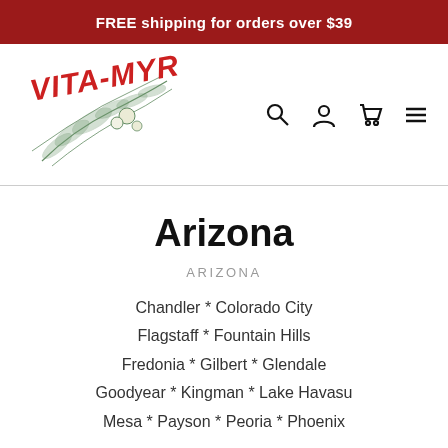FREE shipping for orders over $39
[Figure (logo): Vita-Myr logo with illustrated plant and fruit]
Arizona
ARIZONA
Chandler * Colorado City
Flagstaff * Fountain Hills
Fredonia * Gilbert * Glendale
Goodyear * Kingman * Lake Havasu
Mesa * Payson * Peoria * Phoenix